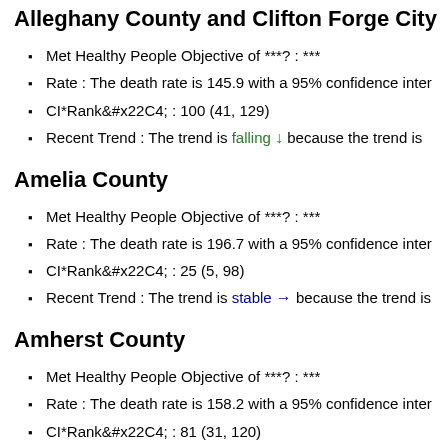Alleghany County and Clifton Forge City
Met Healthy People Objective of ***? : ***
Rate : The death rate is 145.9 with a 95% confidence inter
CI*Rank⋄ : 100 (41, 129)
Recent Trend : The trend is falling ↓ because the trend is
Amelia County
Met Healthy People Objective of ***? : ***
Rate : The death rate is 196.7 with a 95% confidence inter
CI*Rank⋄ : 25 (5, 98)
Recent Trend : The trend is stable → because the trend is
Amherst County
Met Healthy People Objective of ***? : ***
Rate : The death rate is 158.2 with a 95% confidence inter
CI*Rank⋄ : 81 (31, 120)
Recent Trend : The trend is falling ↓ because the trend is